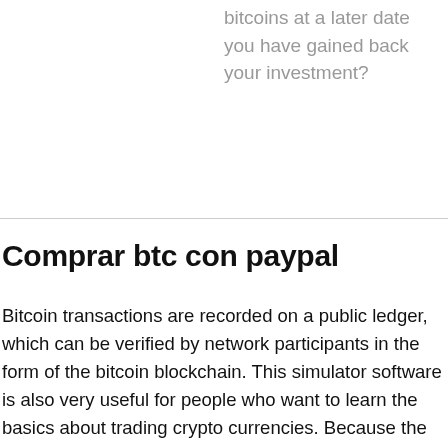bitcoins at a later date you have gained back your investment?
Comprar btc con paypal
Bitcoin transactions are recorded on a public ledger, which can be verified by network participants in the form of the bitcoin blockchain. This simulator software is also very useful for people who want to learn the basics about trading crypto currencies. Because the second way to investing means you are going to invest more money in a cryptocurrency. In the following we will explore the basics of bitcoin, its advantages and its disadvantages. As a consequence, many traders have decided to turn to cryptocurrency exchange for a number of reasons. The best way to find out where to buy ethereum canada is to